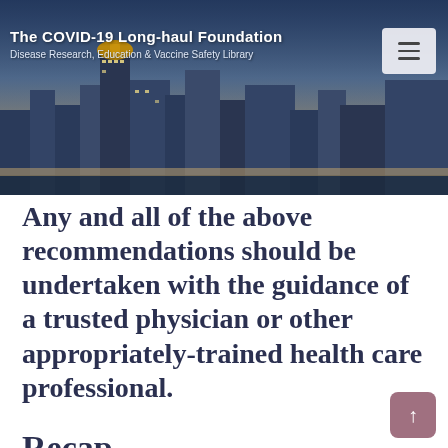[Figure (photo): City skyline banner photo with buildings and golden dome, overlaid with semi-transparent dark tint]
The COVID-19 Long-haul Foundation
Disease Research, Education & Vaccine Safety Library
Any and all of the above recommendations should be undertaken with the guidance of a trusted physician or other appropriately-trained health care professional.
Recap
Even as the COVID pandemic appears to be slowly subsiding, many